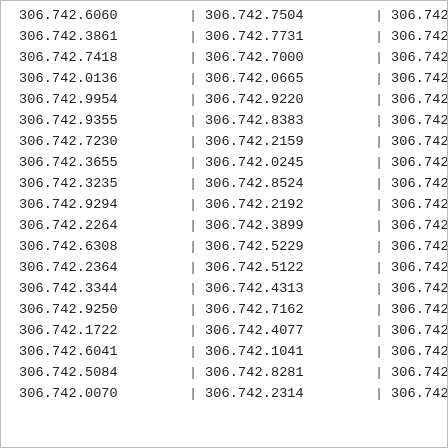| 306.742.6060 | | | 306.742.7504 | | | 306.742.0864 | | |
| 306.742.3861 | | | 306.742.7731 | | | 306.742.3449 | | |
| 306.742.7418 | | | 306.742.7000 | | | 306.742.4497 | | |
| 306.742.0136 | | | 306.742.0665 | | | 306.742.3671 | | |
| 306.742.9954 | | | 306.742.9220 | | | 306.742.8997 | | |
| 306.742.9355 | | | 306.742.8383 | | | 306.742.5165 | | |
| 306.742.7230 | | | 306.742.2159 | | | 306.742.5708 | | |
| 306.742.3655 | | | 306.742.0245 | | | 306.742.2897 | | |
| 306.742.3235 | | | 306.742.8524 | | | 306.742.0262 | | |
| 306.742.9294 | | | 306.742.2192 | | | 306.742.4590 | | |
| 306.742.2264 | | | 306.742.3899 | | | 306.742.9053 | | |
| 306.742.6308 | | | 306.742.5229 | | | 306.742.9037 | | |
| 306.742.2364 | | | 306.742.5122 | | | 306.742.4749 | | |
| 306.742.3344 | | | 306.742.4313 | | | 306.742.3153 | | |
| 306.742.9250 | | | 306.742.7162 | | | 306.742.6567 | | |
| 306.742.1722 | | | 306.742.4077 | | | 306.742.1204 | | |
| 306.742.6041 | | | 306.742.1041 | | | 306.742.2575 | | |
| 306.742.5084 | | | 306.742.8281 | | | 306.742.4006 | | |
| 306.742.0070 | | | 306.742.2314 | | | 306.742.8895 | | |